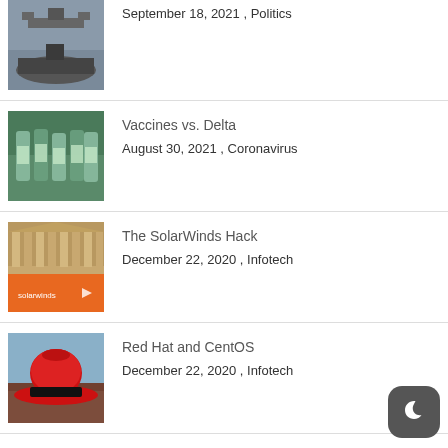[Figure (photo): Submarine/military aircraft photo in gray tones]
September 18, 2021 , Politics
[Figure (photo): Vaccine vials, green tinted photo]
Vaccines vs. Delta
August 30, 2021 , Coronavirus
[Figure (photo): SolarWinds building/banner with ornate architecture behind it]
The SolarWinds Hack
December 22, 2020 , Infotech
[Figure (photo): Red fedora hat on a table]
Red Hat and CentOS
December 22, 2020 , Infotech